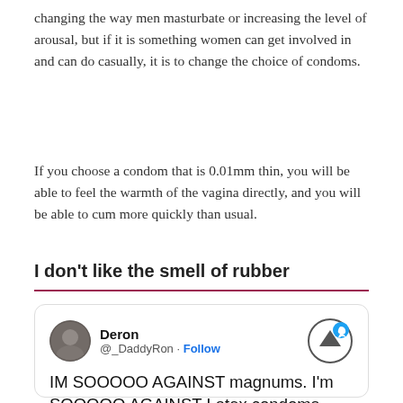changing the way men masturbate or increasing the level of arousal, but if it is something women can get involved in and can do casually, it is to change the choice of condoms.
If you choose a condom that is 0.01mm thin, you will be able to feel the warmth of the vagina directly, and you will be able to cum more quickly than usual.
I don’t like the smell of rubber
[Figure (screenshot): Tweet from user Deron (@_DaddyRon) with Follow button and Twitter bird icon. Tweet text begins: IM SOOOOO AGAINST magnums. I’m SOOOOO AGAINST Latex condoms]